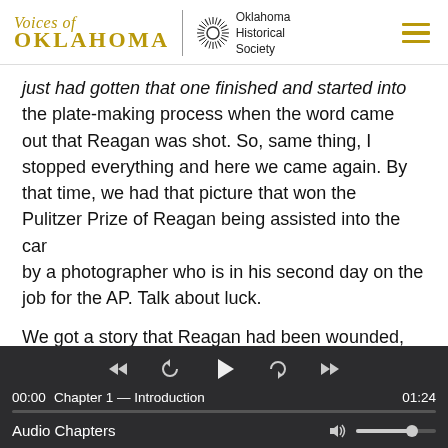Voices of Oklahoma | Oklahoma Historical Society
just had gotten that one finished and started into the plate-making process when the word came out that Reagan was shot. So, same thing, I stopped everything and here we came again. By that time, we had that picture that won the Pulitzer Prize of Reagan being assisted into the car by a photographer who is in his second day on the job for the AP. Talk about luck.

We got a story that Reagan had been wounded, taken to the hospital, condition uncertain. So our
00:00   Chapter 1 — Introduction   01:24
Audio Chapters